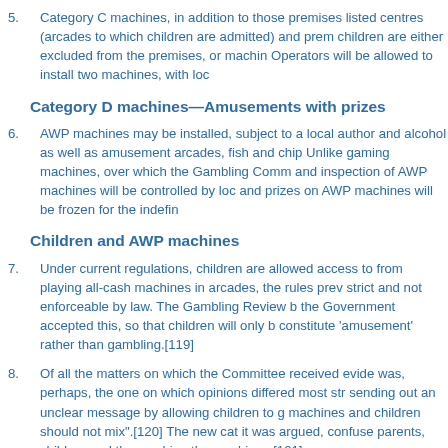5. Category C machines, in addition to those premises listed centres (arcades to which children are admitted) and premises where children are either excluded from the premises, or machines Operators will be allowed to install two machines, with loc
Category D machines—Amusements with prizes
6. AWP machines may be installed, subject to a local author and alcohol as well as amusement arcades, fish and chip Unlike gaming machines, over which the Gambling Comm and inspection of AWP machines will be controlled by loc and prizes on AWP machines will be frozen for the indefin
Children and AWP machines
7. Under current regulations, children are allowed access to from playing all-cash machines in arcades, the rules prev strict and not enforceable by law. The Gambling Review b the Government accepted this, so that children will only b constitute 'amusement' rather than gambling.[119]
8. Of all the matters on which the Committee received evide was, perhaps, the one on which opinions differed most str sending out an unclear message by allowing children to g machines and children should not mix".[120] The new cat it was argued, confuse parents, children and the machine the machines.[121]
9. The Gambling Review recommended that machines such